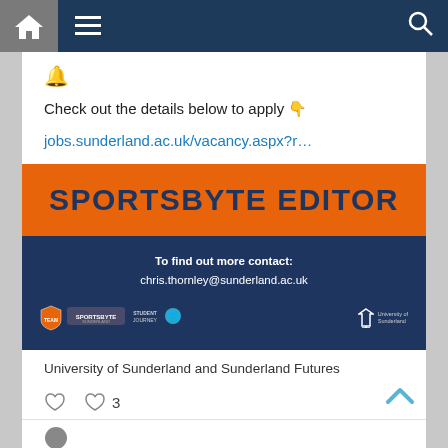[Figure (screenshot): Navigation bar with home icon, hamburger menu, and search icon on dark navy background]
🔔
Check out the details below to apply 👇
jobs.sunderland.ac.uk/vacancy.aspx?r…
[Figure (infographic): Sportsbyte Editor promotional banner on navy background with orange title bar. Text: To find out more contact: chris.thornley@sunderland.ac.uk. Logos for Team Sunderland, Sportsbyte Sunderland, Student Journey, and University of Sunderland.]
University of Sunderland and Sunderland Futures
3